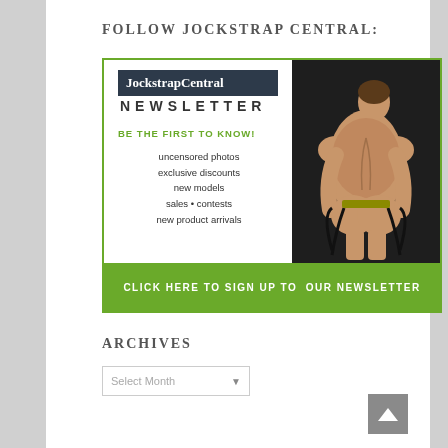FOLLOW JOCKSTRAP CENTRAL:
[Figure (infographic): JockstrapCentral Newsletter promotional banner with logo, text 'BE THE FIRST TO KNOW!', list of benefits (uncensored photos, exclusive discounts, new models, sales • contests, new product arrivals), a photo of a male model wearing a jockstrap, and a green call-to-action button 'CLICK HERE TO SIGN UP TO OUR NEWSLETTER']
ARCHIVES
Select Month